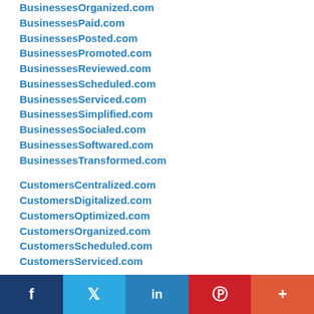BusinessesOrganized.com
BusinessesPaid.com
BusinessesPosted.com
BusinessesPromoted.com
BusinessesReviewed.com
BusinessesScheduled.com
BusinessesServiced.com
BusinessesSimplified.com
BusinessesSocialed.com
BusinessesSoftwared.com
BusinessesTransformed.com
CustomersCentralized.com
CustomersDigitalized.com
CustomersOptimized.com
CustomersOrganized.com
CustomersScheduled.com
CustomersServiced.com
f  twitter  in  P  +